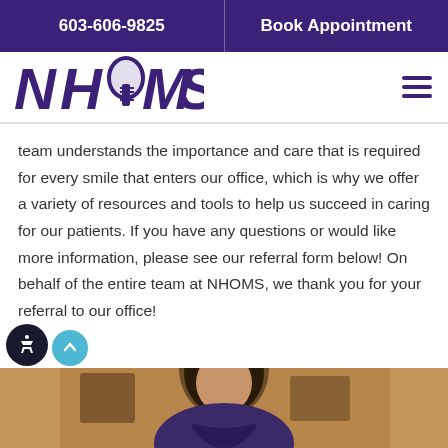603-606-9825   Book Appointment
[Figure (logo): NHOMS logo with stylized tooth/implant icon replacing the 'O' in purple text]
team understands the importance and care that is required for every smile that enters our office, which is why we offer a variety of resources and tools to help us succeed in caring for our patients. If you have any questions or would like more information, please see our referral form below! On behalf of the entire team at NHOMS, we thank you for your referral to our office!
[Figure (photo): Photo of a professional woman with dark hair in an office setting with framed pictures on the wall]